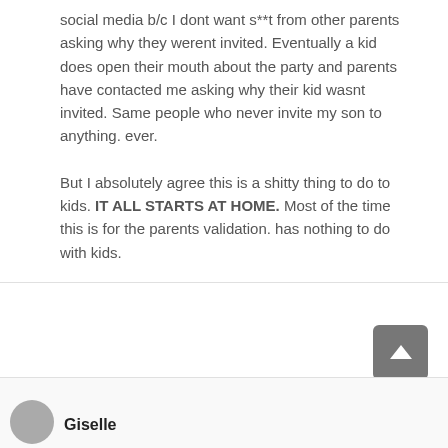social media b/c I dont want s**t from other parents asking why they werent invited. Eventually a kid does open their mouth about the party and parents have contacted me asking why their kid wasnt invited. Same people who never invite my son to anything. ever.
But I absolutely agree this is a shitty thing to do to kids. IT ALL STARTS AT HOME. Most of the time this is for the parents validation. has nothing to do with kids.
Giselle